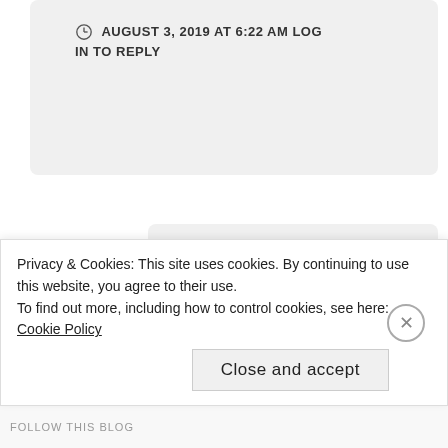AUGUST 3, 2019 AT 6:22 AM LOG IN TO REPLY
[Figure (photo): Circular avatar with red border showing Winnie the Pooh and Piglet illustration]
Anjana
Thank you Unishta. I read your post describing the Mumbai
Privacy & Cookies: This site uses cookies. By continuing to use this website, you agree to their use.
To find out more, including how to control cookies, see here: Cookie Policy
Close and accept